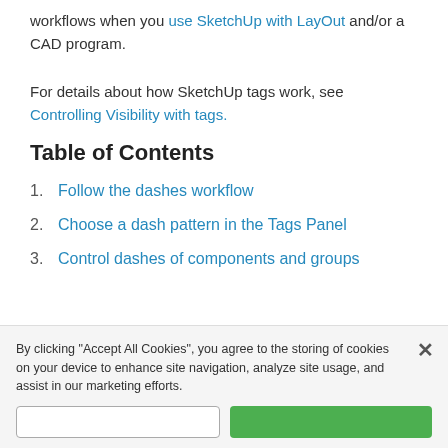workflows when you use SketchUp with LayOut and/or a CAD program.
For details about how SketchUp tags work, see Controlling Visibility with tags.
Table of Contents
1. Follow the dashes workflow
2. Choose a dash pattern in the Tags Panel
3. Control dashes of components and groups
By clicking "Accept All Cookies", you agree to the storing of cookies on your device to enhance site navigation, analyze site usage, and assist in our marketing efforts.